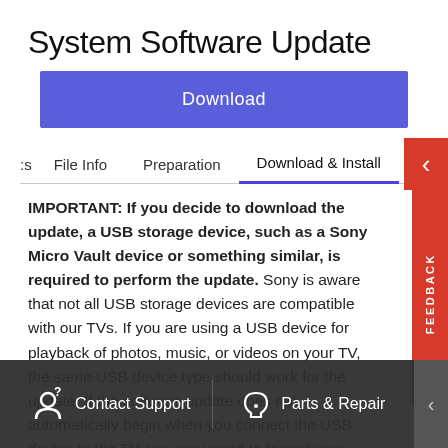System Software Update
Download
File Info	Preparation	Download & Install
IMPORTANT: If you decide to download the update, a USB storage device, such as a Sony Micro Vault device or something similar, is required to perform the update. Sony is aware that not all USB storage devices are compatible with our TVs. If you are using a USB device for playback of photos, music, or videos on your TV, the same USB device type should work for the update. If the software update does not automatically begin when you connect the USB device to the TV, you may need to format your device to the FAT32 file system, or use a different device.
2. Network Download - If your TV is connected to the Internet
Contact Support	Parts & Repair